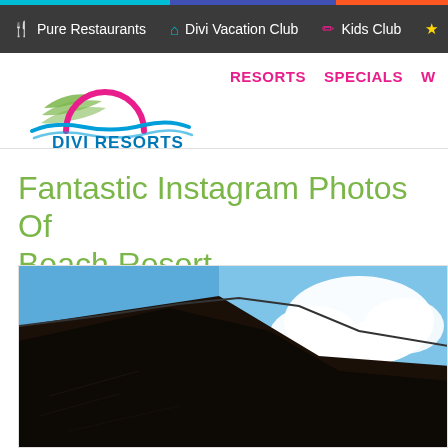Pure Restaurants | Divi Vacation Club | Kids Club
[Figure (logo): Divi Resorts logo with green wave/leaf and pink arc, blue water wave, text DIVI RESORTS in blue]
RESORTS  SPECIALS  W
Fantastic Instagram Photos Of Beach Resort
[Figure (photo): Close-up photo of a dark stone or wood building overhang/roof edge against a blue sky with white clouds]